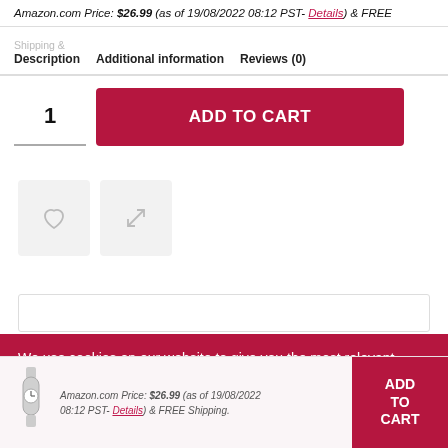Amazon.com Price: $26.99 (as of 19/08/2022 08:12 PST- Details) & FREE
Description   Additional information   Reviews (0)
1
ADD TO CART
[Figure (other): Heart (wishlist) icon button]
[Figure (other): Compare/shuffle icon button]
We use cookies on our website to give you the most relevant experience by remembering your preferences and repeat visits.
Amazon.com Price: $26.99 (as of 19/08/2022 08:12 PST- Details) & FREE Shipping.
ADD TO CART